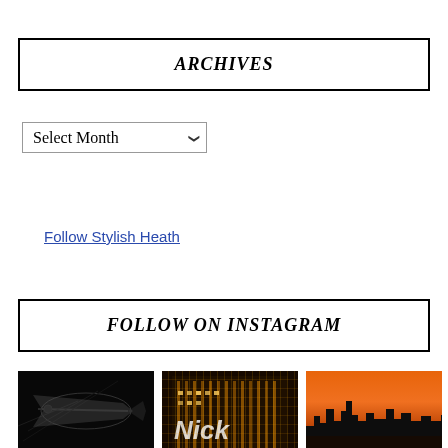ARCHIVES
Select Month
Follow Stylish Heath
FOLLOW ON INSTAGRAM
[Figure (photo): Three Instagram photos: a dark fish/nature photo, a night shot of a lit building with 'Nick' text, and a city skyline at sunset]
[Figure (photo): Night shot of large illuminated building with ornate architecture and 'Nick' lettering]
[Figure (photo): City skyline at sunset with orange sky and dark buildings silhouettes]